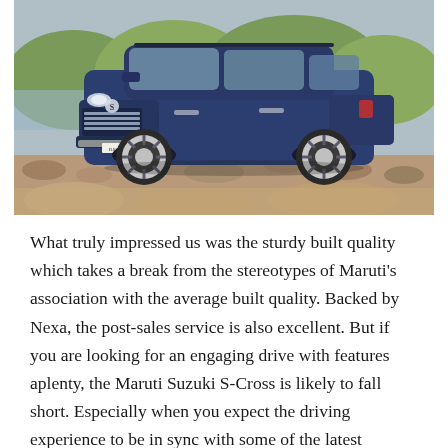[Figure (photo): A blue Maruti Suzuki S-Cross SUV parked on a rocky/gravel outdoor surface with greenery in the background. The vehicle is photographed from a low front-three-quarter angle.]
What truly impressed us was the sturdy built quality which takes a break from the stereotypes of Maruti's association with the average built quality. Backed by Nexa, the post-sales service is also excellent. But if you are looking for an engaging drive with features aplenty, the Maruti Suzuki S-Cross is likely to fall short. Especially when you expect the driving experience to be in sync with some of the latest offerings from Europe. That said,